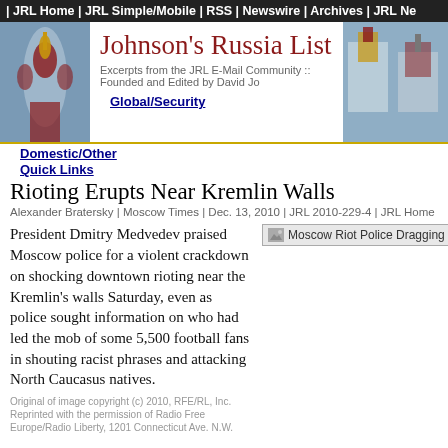| JRL Home | JRL Simple/Mobile | RSS | Newswire | Archives | JRL Ne
[Figure (photo): Saint Basil's Cathedral photo on left side of header]
Johnson's Russia List
Excerpts from the JRL E-Mail Community :: Founded and Edited by David Jo
[Figure (photo): Cathedral/church photos on right side of header]
Global/Security
Domestic/Other
Quick Links
Rioting Erupts Near Kremlin Walls
Alexander Bratersky | Moscow Times | Dec. 13, 2010 | JRL 2010-229-4 | JRL Home
President Dmitry Medvedev praised Moscow police for a violent crackdown on shocking downtown rioting near the Kremlin's walls Saturday, even as police sought information on who had led the mob of some 5,500 football fans in shouting racist phrases and attacking North Caucasus natives.
[Figure (photo): Moscow Riot Police Dragging Ci...]
Original of image copyright (c) 2010, RFE/RL, Inc. Reprinted with the permission of Radio Free Europe/Radio Liberty, 1201 Connecticut Ave. N.W.